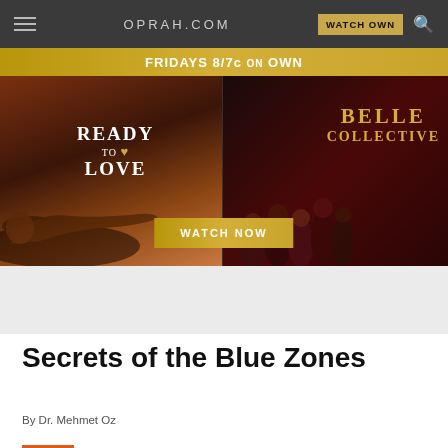OPRAH.COM
[Figure (screenshot): Promotional banner ad for OWN network shows 'Ready to Love' and 'Belle Collective', Fridays 8/7c on OWN, with Watch Now button]
Secrets of the Blue Zones
By Dr. Mehmet Oz